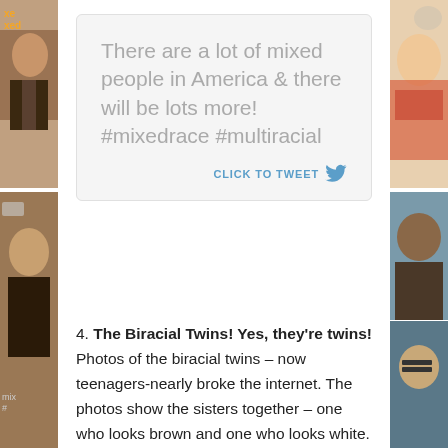[Figure (photo): Left strip of photos showing diverse people, cropped at edges, with orange branding text visible]
[Figure (photo): Right strip of photos showing diverse people, cropped at edges]
There are a lot of mixed people in America & there will be lots more! #mixedrace #multiracial
CLICK TO TWEET
4. The Biracial Twins! Yes, they're twins! Photos of the biracial twins – now teenagers-nearly broke the internet. The photos show the sisters together – one who looks brown and one who looks white. There seemed to be a collective